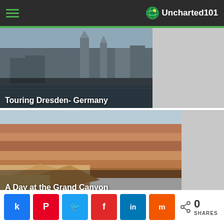Uncharted101 navigation header
[Figure (photo): Photo of Dresden Germany skyline with historic church towers and buildings along the river]
Touring Dresden- Germany
[Figure (photo): Photo of the Grand Canyon showing layered red rock formations with canyon vista]
A Day at the Grand Canyon
Social share buttons: Facebook, Pinterest, Twitter, Flipboard, LinkedIn, Mix — 0 SHARES